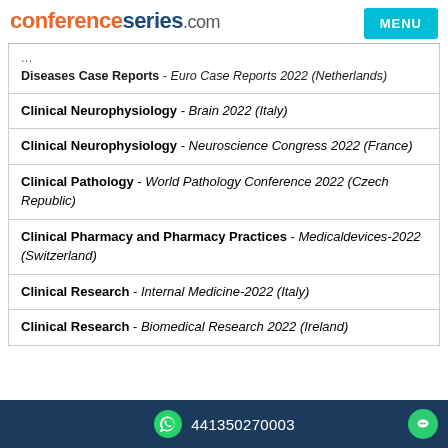conferenceseries.com
Diseases Case Reports - Euro Case Reports 2022 (Netherlands)
Clinical Neurophysiology - Brain 2022 (Italy)
Clinical Neurophysiology - Neuroscience Congress 2022 (France)
Clinical Pathology - World Pathology Conference 2022 (Czech Republic)
Clinical Pharmacy and Pharmacy Practices - Medicaldevices-2022 (Switzerland)
Clinical Research - Internal Medicine-2022 (Italy)
Clinical Research - Biomedical Research 2022 (Ireland)
441350270003